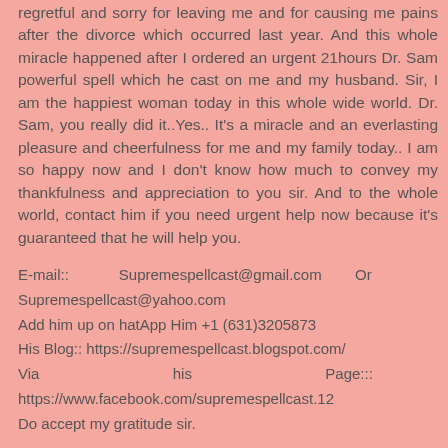regretful and sorry for leaving me and for causing me pains after the divorce which occurred last year. And this whole miracle happened after I ordered an urgent 21hours Dr. Sam powerful spell which he cast on me and my husband. Sir, I am the happiest woman today in this whole wide world. Dr. Sam, you really did it..Yes.. It's a miracle and an everlasting pleasure and cheerfulness for me and my family today.. I am so happy now and I don't know how much to convey my thankfulness and appreciation to you sir. And to the whole world, contact him if you need urgent help now because it's guaranteed that he will help you.
E-mail:: Supremespellcast@gmail.com Or Supremespellcast@yahoo.com
Add him up on hatApp Him +1 (631)3205873
His Blog:: https://supremespellcast.blogspot.com/
Via his Page::: https://www.facebook.com/supremespellcast.12
Do accept my gratitude sir.
Reply